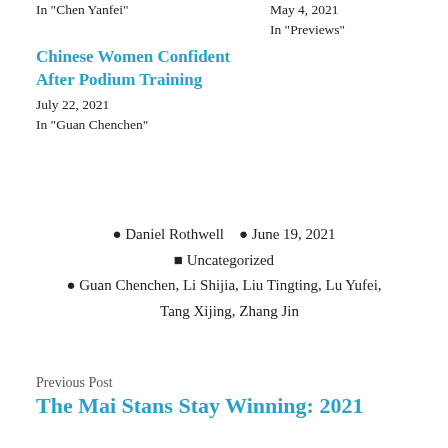In "Chen Yanfei"
May 4, 2021
In "Previews"
Chinese Women Confident After Podium Training
July 22, 2021
In "Guan Chenchen"
Daniel Rothwell   June 19, 2021
Uncategorized
Guan Chenchen, Li Shijia, Liu Tingting, Lu Yufei, Tang Xijing, Zhang Jin
Previous Post
The Mai Stans Stay Winning: 2021